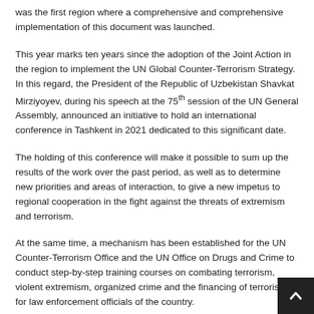was the first region where a comprehensive and comprehensive implementation of this document was launched.
This year marks ten years since the adoption of the Joint Action in the region to implement the UN Global Counter-Terrorism Strategy. In this regard, the President of the Republic of Uzbekistan Shavkat Mirziyoyev, during his speech at the 75th session of the UN General Assembly, announced an initiative to hold an international conference in Tashkent in 2021 dedicated to this significant date.
The holding of this conference will make it possible to sum up the results of the work over the past period, as well as to determine new priorities and areas of interaction, to give a new impetus to regional cooperation in the fight against the threats of extremism and terrorism.
At the same time, a mechanism has been established for the UN Counter-Terrorism Office and the UN Office on Drugs and Crime to conduct step-by-step training courses on combating terrorism, violent extremism, organized crime and the financing of terrorism for law enforcement officials of the country.
Uzbekistan is an active member of the Shanghai Cooperation Organiza­tion (SCO), which also aims to jointly ensure and maintain peace, security and